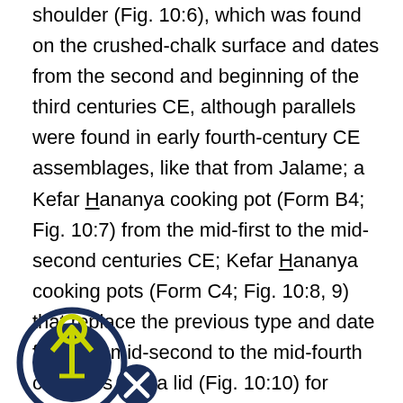shoulder (Fig. 10:6), which was found on the crushed-chalk surface and dates from the second and beginning of the third centuries CE, although parallels were found in early fourth-century CE assemblages, like that from Jalame; a Kefar Hananya cooking pot (Form B4; Fig. 10:7) from the mid-first to the mid-second centuries CE; Kefar Hananya cooking pots (Form C4; Fig. 10:8, 9) that replace the previous type and date from the mid-second to the mid-fourth centuries CE; a lid (Fig. 10:10) for covering an open cooking pot that was in use throughout the Roman period; a cooking pot (Fig. [10:11]) with a gutter rim, which was dated at Jalame to the fourth century CE. Also found were jars (Fig. 10:12, 13) dating from the third century CE.
[Figure (logo): Circular logo with an arrow pointing upward inside a circle, with a smaller circle containing an X in the lower right.]